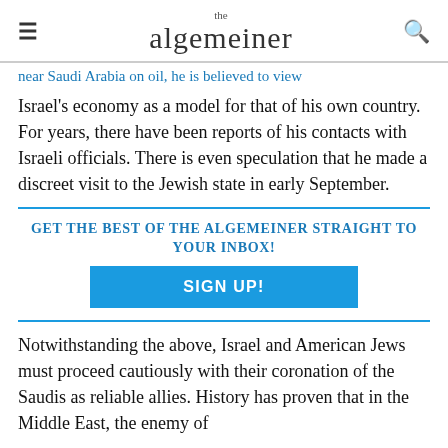the algemeiner
near Saudi Arabia on oil, he is believed to view Israel's economy as a model for that of his own country. For years, there have been reports of his contacts with Israeli officials. There is even speculation that he made a discreet visit to the Jewish state in early September.
GET THE BEST OF THE ALGEMEINER STRAIGHT TO YOUR INBOX!
SIGN UP!
Notwithstanding the above, Israel and American Jews must proceed cautiously with their coronation of the Saudis as reliable allies. History has proven that in the Middle East, the enemy of